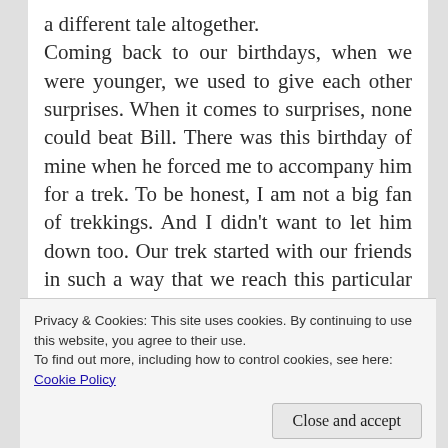a different tale altogether. Coming back to our birthdays, when we were younger, we used to give each other surprises. When it comes to surprises, none could beat Bill. There was this birthday of mine when he forced me to accompany him for a trek. To be honest, I am not a big fan of trekkings. And I didn't want to let him down too. Our trek started with our friends in such a way that we reach this particular place on my birthday. Any guesses what I found there??? Fireflies- millions of them, lighting up the night, all around me!!! Sometime before, I had made a casual remark that it's been really long since I saw
Privacy & Cookies: This site uses cookies. By continuing to use this website, you agree to their use. To find out more, including how to control cookies, see here: Cookie Policy
happiness on my husband's face in seeing my